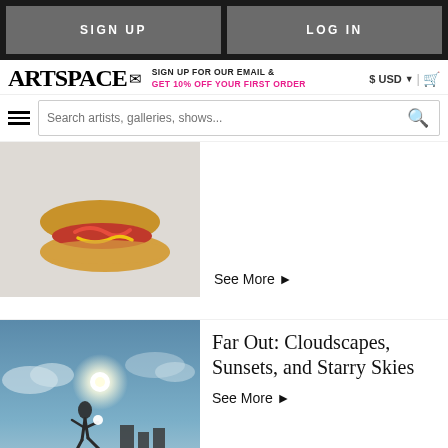SIGN UP | LOG IN
ARTSPACE
SIGN UP FOR OUR EMAIL & GET 10% OFF YOUR FIRST ORDER
$ USD | cart
Search artists, galleries, shows...
[Figure (photo): A decorative miniature hot dog toy sculpture on a light grey/beige background]
See More ▶
Far Out: Cloudscapes, Sunsets, and Starry Skies
[Figure (photo): A surreal composite photo of a silhouetted human figure appearing to jump holding a glowing orb/sun, set against a cloudy sky and city buildings reflected on water]
See More ▶